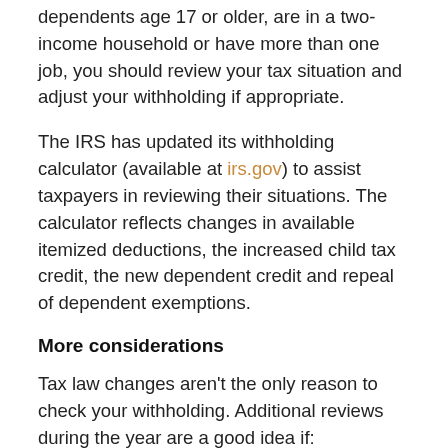dependents age 17 or older, are in a two-income household or have more than one job, you should review your tax situation and adjust your withholding if appropriate.
The IRS has updated its withholding calculator (available at irs.gov) to assist taxpayers in reviewing their situations. The calculator reflects changes in available itemized deductions, the increased child tax credit, the new dependent credit and repeal of dependent exemptions.
More considerations
Tax law changes aren't the only reason to check your withholding. Additional reviews during the year are a good idea if: